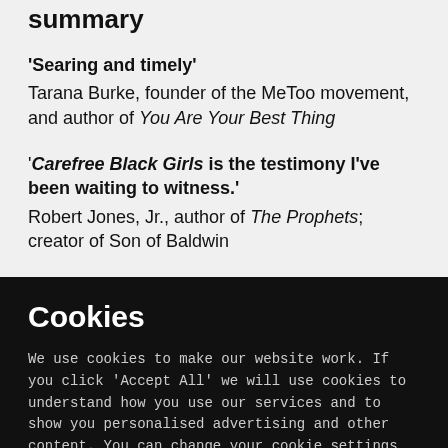summary
'Searing and timely'
Tarana Burke, founder of the MeToo movement, and author of You Are Your Best Thing
'Carefree Black Girls is the testimony I've been waiting to witness.'
Robert Jones, Jr., author of The Prophets; creator of Son of Baldwin
Cookies
We use cookies to make our website work. If you click 'Accept All' we will use cookies to understand how you use our services and to show you personalised advertising and other content. You can change your cookie settings by clicking 'Manage Cookies'. For more information please see our cookie policy